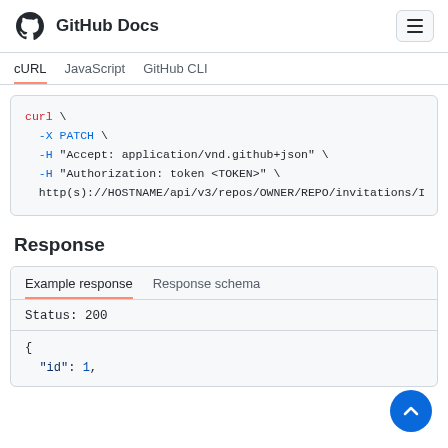GitHub Docs
cURL | JavaScript | GitHub CLI
curl \
  -X PATCH \
  -H "Accept: application/vnd.github+json" \
  -H "Authorization: token <TOKEN>" \
  http(s)://HOSTNAME/api/v3/repos/OWNER/REPO/invitations/I
Response
Example response | Response schema
Status: 200
{
  "id": 1,